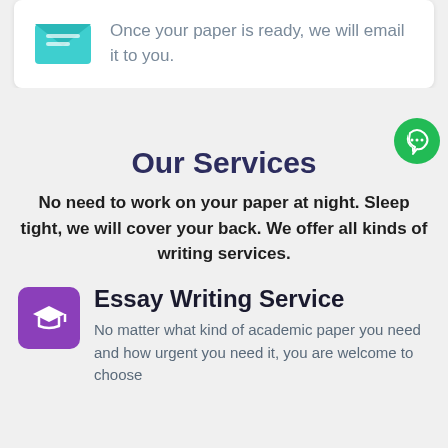Once your paper is ready, we will email it to you.
Our Services
No need to work on your paper at night. Sleep tight, we will cover your back. We offer all kinds of writing services.
Essay Writing Service
No matter what kind of academic paper you need and how urgent you need it, you are welcome to choose